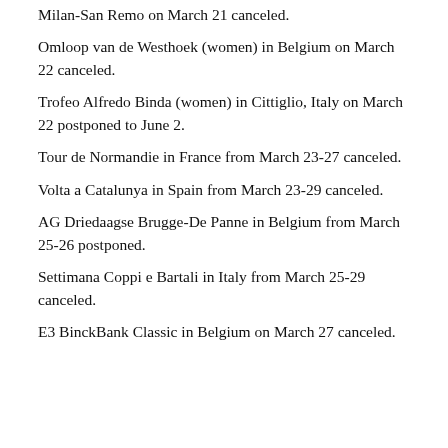Milan-San Remo on March 21 canceled.
Omloop van de Westhoek (women) in Belgium on March 22 canceled.
Trofeo Alfredo Binda (women) in Cittiglio, Italy on March 22 postponed to June 2.
Tour de Normandie in France from March 23-27 canceled.
Volta a Catalunya in Spain from March 23-29 canceled.
AG Driedaagse Brugge-De Panne in Belgium from March 25-26 postponed.
Settimana Coppi e Bartali in Italy from March 25-29 canceled.
E3 BinckBank Classic in Belgium on March 27 canceled.